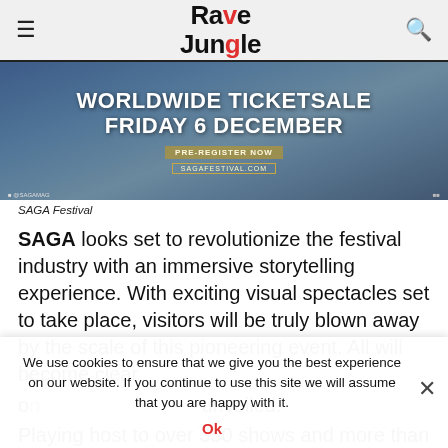Rave Jungle
[Figure (photo): SAGA Festival promotional banner showing 'WORLDWIDE TICKETSALE FRIDAY 6 DECEMBER' text over a crowd/stage background, with pre-register and sagafestival.com links]
SAGA Festival
SAGA looks set to revolutionize the festival industry with an immersive storytelling experience. With exciting visual spectacles set to take place, visitors will be truly blown away by the scale of this pioneering event. All will become clear on the day of, if not before, if details are gradually unveiled.
Playing host to over 350 shows and more than 30 brands for
We use cookies to ensure that we give you the best experience on our website. If you continue to use this site we will assume that you are happy with it.